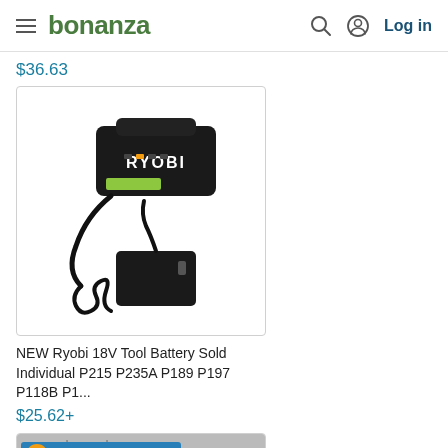bonanza — Log in
$36.63
[Figure (photo): RYOBI 18V battery charger with power cord and AC adapter plug]
NEW Ryobi 18V Tool Battery Sold Individual P215 P235A P189 P197 P118B P1...
$25.62+
[Figure (photo): Top Rated Seller badge with partially visible product image below]